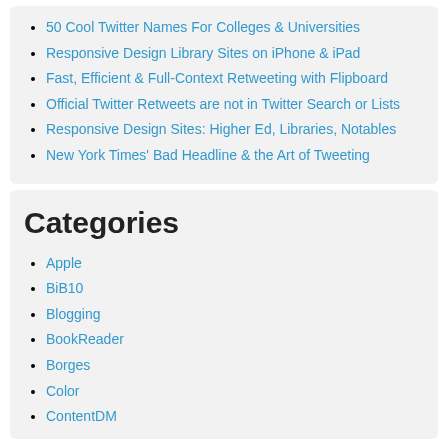50 Cool Twitter Names For Colleges & Universities
Responsive Design Library Sites on iPhone & iPad
Fast, Efficient & Full-Context Retweeting with Flipboard
Official Twitter Retweets are not in Twitter Search or Lists
Responsive Design Sites: Higher Ed, Libraries, Notables
New York Times' Bad Headline & the Art of Tweeting
Categories
Apple
BiB10
Blogging
BookReader
Borges
Color
ContentDM